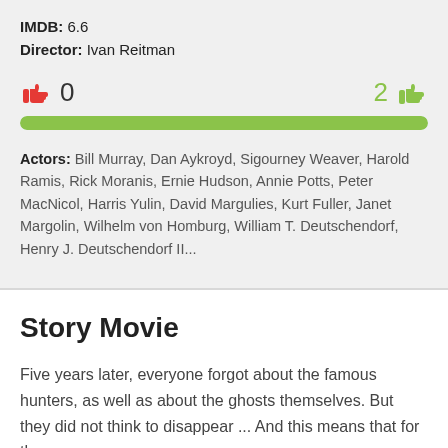IMDB: 6.6
Director: Ivan Reitman
0 thumbs down, 2 thumbs up, green progress bar
Actors: Bill Murray, Dan Aykroyd, Sigourney Weaver, Harold Ramis, Rick Moranis, Ernie Hudson, Annie Potts, Peter MacNicol, Harris Yulin, David Margulies, Kurt Fuller, Janet Margolin, Wilhelm von Homburg, William T. Deutschendorf, Henry J. Deutschendorf II...
Story Movie
Five years later, everyone forgot about the famous hunters, as well as about the ghosts themselves. But they did not think to disappear ... And this means that for the